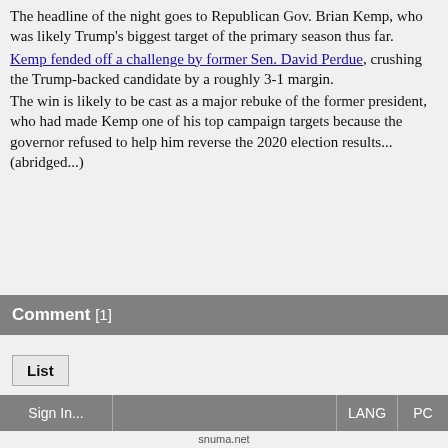The headline of the night goes to Republican Gov. Brian Kemp, who was likely Trump's biggest target of the primary season thus far.
Kemp fended off a challenge by former Sen. David Perdue, crushing the Trump-backed candidate by a roughly 3-1 margin.
The win is likely to be cast as a major rebuke of the former president, who had made Kemp one of his top campaign targets because the governor refused to help him reverse the 2020 election results... (abridged...)
Comment [1]
List
Sign In...   LANG   PC
snuma.net